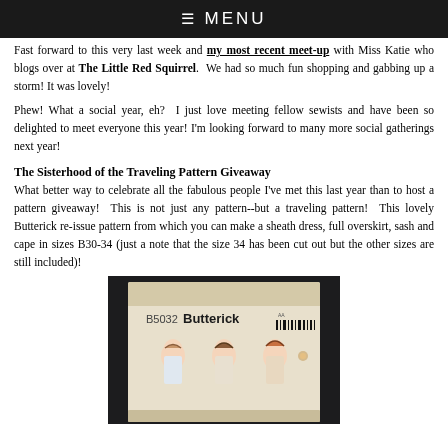≡ MENU
Fast forward to this very last week and my most recent meet-up with Miss Katie who blogs over at The Little Red Squirrel.  We had so much fun shopping and gabbing up a storm! It was lovely!
Phew! What a social year, eh?  I just love meeting fellow sewists and have been so delighted to meet everyone this year! I'm looking forward to many more social gatherings next year!
The Sisterhood of the Traveling Pattern Giveaway
What better way to celebrate all the fabulous people I've met this last year than to host a pattern giveaway!  This is not just any pattern--but a traveling pattern!  This lovely Butterick re-issue pattern from which you can make a sheath dress, full overskirt, sash and cape in sizes B30-34 (just a note that the size 34 has been cut out but the other sizes are still included)!
[Figure (photo): Photo of a Butterick sewing pattern B5032 package showing vintage-style illustrated women on the envelope]